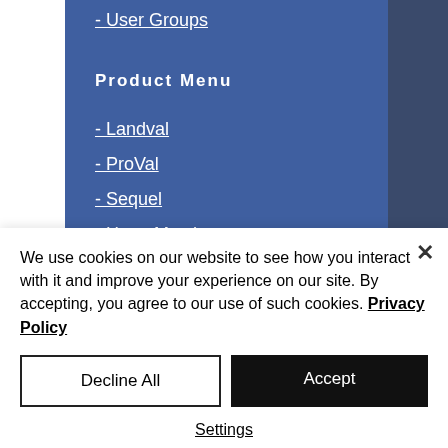- User Groups
Product Menu
- Landval
- ProVal
- Sequel
- HomeMatch
- Consultancy
We use cookies on our website to see how you interact with it and improve your experience on our site. By accepting, you agree to our use of such cookies. Privacy Policy
Decline All
Accept
Settings